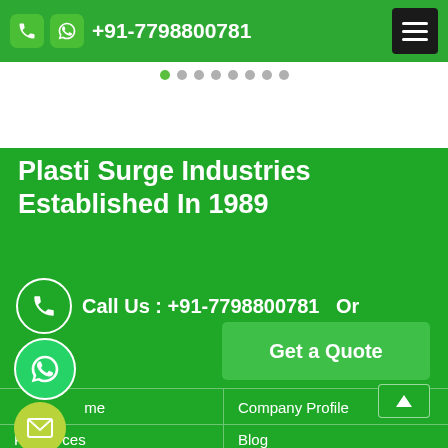+91-7798800781
Plasti Surge Industries Established In 1989
Call Us : +91-7798800781   Or
Get a Quote
Home
Company Profile
Resources
Blog
Contact Us
Market Area